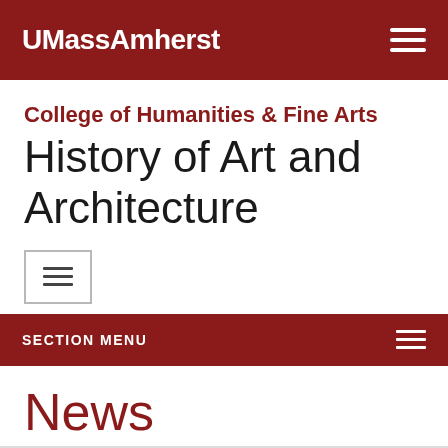UMassAmherst
College of Humanities & Fine Arts
History of Art and Architecture
SECTION MENU
News